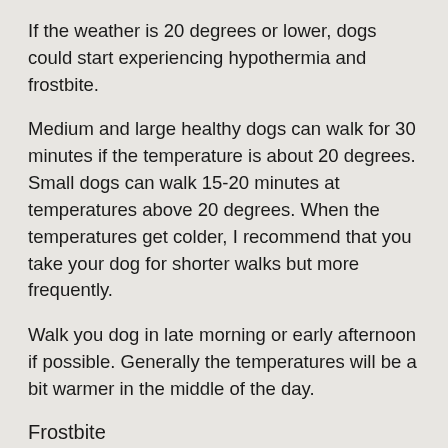If the weather is 20 degrees or lower, dogs could start experiencing hypothermia and frostbite.
Medium and large healthy dogs can walk for 30 minutes if the temperature is about 20 degrees. Small dogs can walk 15-20 minutes at temperatures above 20 degrees. When the temperatures get colder, I recommend that you take your dog for shorter walks but more frequently.
Walk you dog in late morning or early afternoon if possible. Generally the temperatures will be a bit warmer in the middle of the day.
Frostbite
Frostbite begins when the dog's body gets cold. Their body will pull blood from the extremities to the center of the body to help them stay warm.